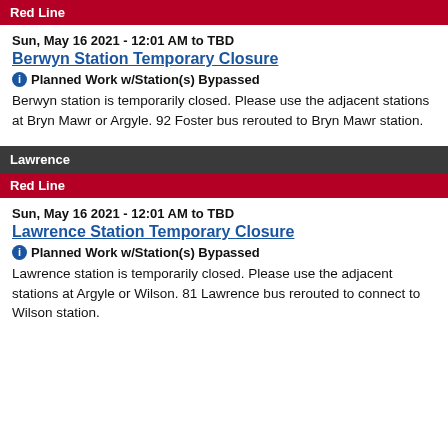Red Line
Sun, May 16 2021 - 12:01 AM to TBD
Berwyn Station Temporary Closure
Planned Work w/Station(s) Bypassed
Berwyn station is temporarily closed. Please use the adjacent stations at Bryn Mawr or Argyle. 92 Foster bus rerouted to Bryn Mawr station.
Lawrence
Red Line
Sun, May 16 2021 - 12:01 AM to TBD
Lawrence Station Temporary Closure
Planned Work w/Station(s) Bypassed
Lawrence station is temporarily closed. Please use the adjacent stations at Argyle or Wilson. 81 Lawrence bus rerouted to connect to Wilson station.